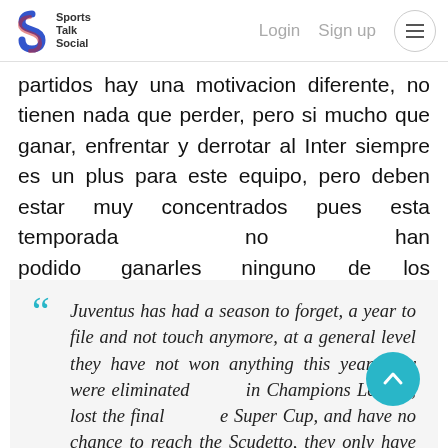Sports Talk Social | Login | Sign up
partidos hay una motivacion diferente, no tienen nada que perder, pero si mucho que ganar, enfrentar y derrotar al Inter siempre es un plus para este equipo, pero deben estar muy concentrados pues esta temporada no han podido ganarles ninguno de los enfrentamientos.
“Juventus has had a season to forget, a year to file and not touch anymore, at a general level they have not won anything this year, they were eliminated in Champions League, lost the final of the Super Cup, and have no chance to reach the Scudetto, they only have one chance